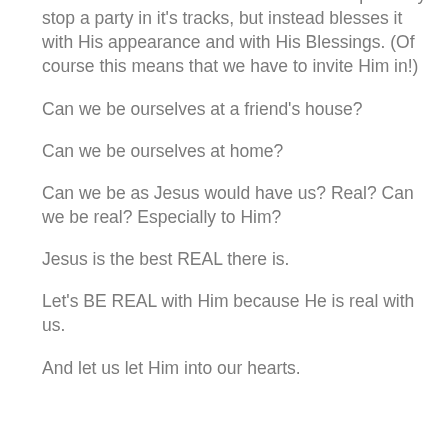observations about each of us. He could probably stop a party in it's tracks, but instead blesses it with His appearance and with His Blessings. (Of course this means that we have to invite Him in!)
Can we be ourselves at a friend's house?
Can we be ourselves at home?
Can we be as Jesus would have us? Real? Can we be real? Especially to Him?
Jesus is the best REAL there is.
Let's BE REAL with Him because He is real with us.
And let us let Him into our hearts.